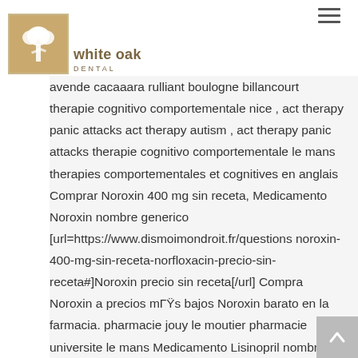[Figure (logo): White Oak Dental logo with tree icon and text]
avende cacaaara rulliant boulogne billancourt therapie cognitivo comportementale nice , act therapy panic attacks act therapy autism , act therapy panic attacks therapie cognitivo comportementale le mans therapies comportementales et cognitives en anglais Comprar Noroxin 400 mg sin receta, Medicamento Noroxin nombre generico [url=https://www.dismoimondroit.fr/questions noroxin-400-mg-sin-receta-norfloxacin-precio-sin-receta#]Noroxin precio sin receta[/url] Compra Noroxin a precios mГŸs bajos Noroxin barato en la farmacia. pharmacie jouy le moutier pharmacie universite le mans Medicamento Lisinopril nombre generico,